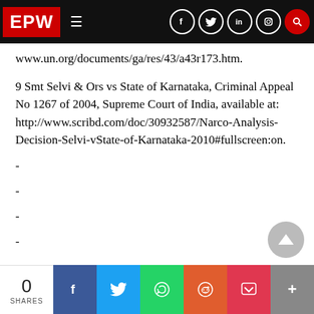EPW [navigation bar with social icons]
www.un.org/documents/ga/res/43/a43r173.htm.
9 Smt Selvi & Ors vs State of Karnataka, Criminal Appeal No 1267 of 2004, Supreme Court of India, available at: http://www.scribd.com/doc/30932587/Narco-Analysis-Decision-Selvi-vState-of-Karnataka-2010#fullscreen:on.
-
-
-
-
0 SHARES | Facebook | Twitter | WhatsApp | Reddit | Pocket | More